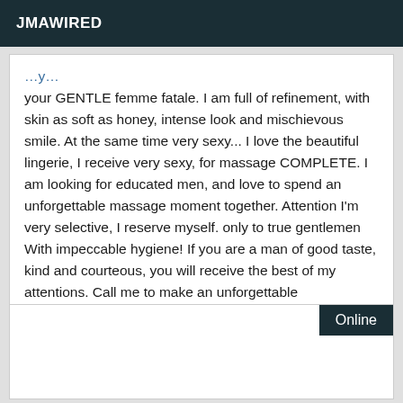JMAWIRED
your GENTLE femme fatale. I am full of refinement, with skin as soft as honey, intense look and mischievous smile. At the same time very sexy... I love the beautiful lingerie, I receive very sexy, for massage COMPLETE. I am looking for educated men, and love to spend an unforgettable massage moment together. Attention I'm very selective, I reserve myself. only to true gentlemen With impeccable hygiene! If you are a man of good taste, kind and courteous, you will receive the best of my attentions. Call me to make an unforgettable appointment.
Online